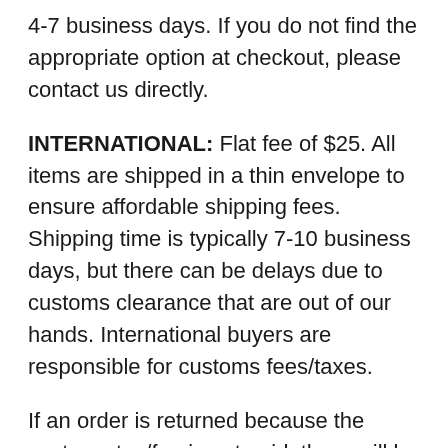4-7 business days. If you do not find the appropriate option at checkout, please contact us directly.
INTERNATIONAL: Flat fee of $25. All items are shipped in a thin envelope to ensure affordable shipping fees.  Shipping time is typically 7-10 business days, but there can be delays due to customs clearance that are out of our hands. International buyers are responsible for customs fees/taxes.
If an order is returned because the customs tax/fee is not paid, there will be a $10 restocking fee and the shipping charge will not be refunded. We do not enter a smaller value on the custom form or mark it